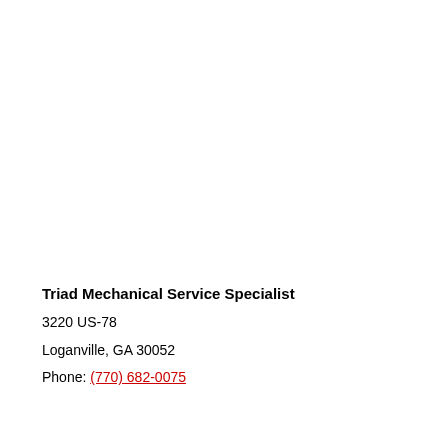Triad Mechanical Service Specialist
3220 US-78
Loganville, GA 30052
Phone: (770) 682-0075